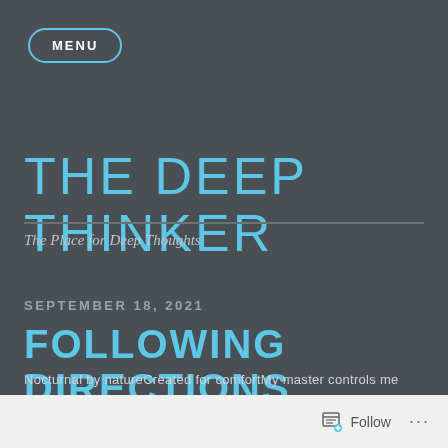MENU
THE DEEP THINKER
The Place for Deep Thoughts
SEPTEMBER 18, 2021
FOLLOWING DIRECTIONS
Nocturnal by natureCreated for comfortMy master controls me
Follow ...